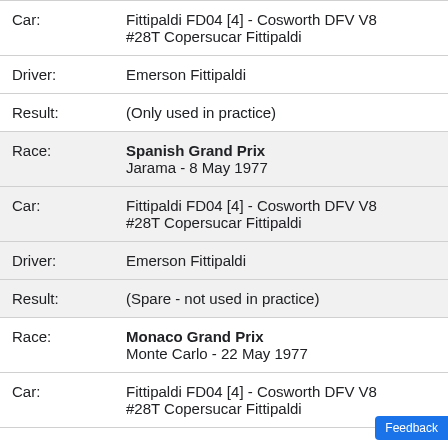| Car: | Fittipaldi FD04 [4] - Cosworth DFV V8
#28T Copersucar Fittipaldi |
| Driver: | Emerson Fittipaldi |
| Result: | (Only used in practice) |
| Race: | Spanish Grand Prix
Jarama - 8 May 1977 |
| Car: | Fittipaldi FD04 [4] - Cosworth DFV V8
#28T Copersucar Fittipaldi |
| Driver: | Emerson Fittipaldi |
| Result: | (Spare - not used in practice) |
| Race: | Monaco Grand Prix
Monte Carlo - 22 May 1977 |
| Car: | Fittipaldi FD04 [4] - Cosworth DFV V8
#28T Copersucar Fittipaldi |